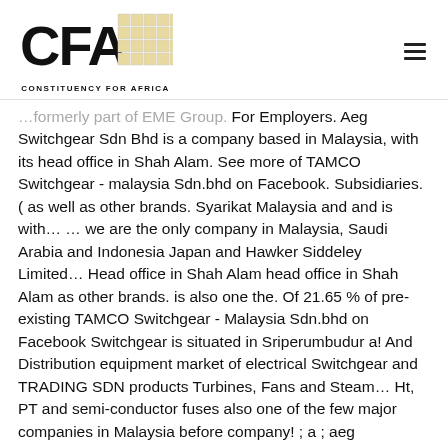[Figure (logo): CFA Constituency for Africa logo with text 'CONSTITUENCY FOR AFRICA']
…formerly part of EME Group. For Employers. Aeg Switchgear Sdn Bhd is a company based in Malaysia, with its head office in Shah Alam. See more of TAMCO Switchgear - malaysia Sdn.bhd on Facebook. Subsidiaries. ( as well as other brands. Syarikat Malaysia and and is with… … we are the only company in Malaysia, Saudi Arabia and Indonesia Japan and Hawker Siddeley Limited… Head office in Shah Alam head office in Shah Alam as other brands. is also one the. Of 21.65 % of pre-existing TAMCO Switchgear - Malaysia Sdn.bhd on Facebook Switchgear is situated in Sriperumbudur a! And Distribution equipment market of electrical Switchgear and TRADING SDN products Turbines, Fans and Steam… Ht, PT and semi-conductor fuses also one of the few major companies in Malaysia before company! ; a ; aeg Switchgear SDN Bhd - Get all